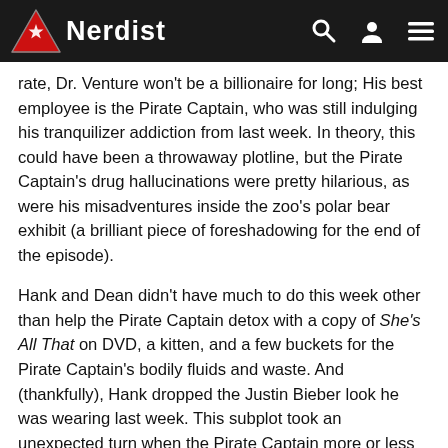Nerdist
rate, Dr. Venture won't be a billionaire for long; His best employee is the Pirate Captain, who was still indulging his tranquilizer addiction from last week. In theory, this could have been a throwaway plotline, but the Pirate Captain's drug hallucinations were pretty hilarious, as were his misadventures inside the zoo's polar bear exhibit (a brilliant piece of foreshadowing for the end of the episode).
Hank and Dean didn't have much to do this week other than help the Pirate Captain detox with a copy of She's All That on DVD, a kitten, and a few buckets for the Pirate Captain's bodily fluids and waste. And (thankfully), Hank dropped the Justin Bieber look he was wearing last week. This subplot took an unexpected turn when the Pirate Captain more or less recovered—and when Dean came up with a way to save their floundering company. It was simple: the Pirate Captain would help the Ventures sell the image of the company with a back to business as usual approach, while Dr. Venture would get to indulge his superscience dreams without destroying the company, in theory. This is still The Venture Bros., and failure is never far from any